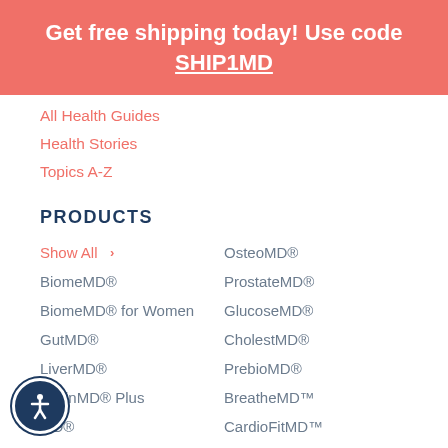Get free shipping today! Use code SHIP1MD
All Health Guides
Health Stories
Topics A-Z
PRODUCTS
Show All
OsteoMD®
BiomeMD®
ProstateMD®
BiomeMD® for Women
GlucoseMD®
GutMD®
CholestMD®
LiverMD®
PrebioMD®
IuminMD® Plus
BreatheMD™
MD®
CardioFitMD™